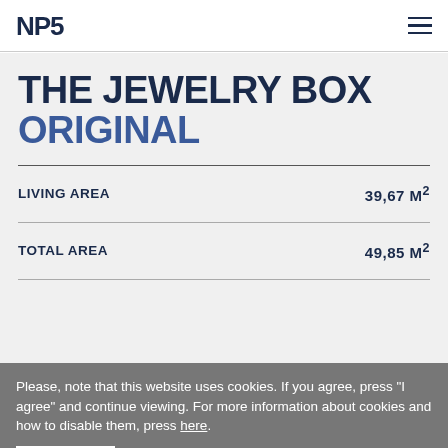NP5
THE JEWELRY BOX ORIGINAL
| Specification | Value |
| --- | --- |
| LIVING AREA | 39,67 M² |
| TOTAL AREA | 49,85 M² |
Please, note that this website uses cookies. If you agree, press "I agree" and continue viewing. For more information about cookies and how to disable them, press here.
AGREE